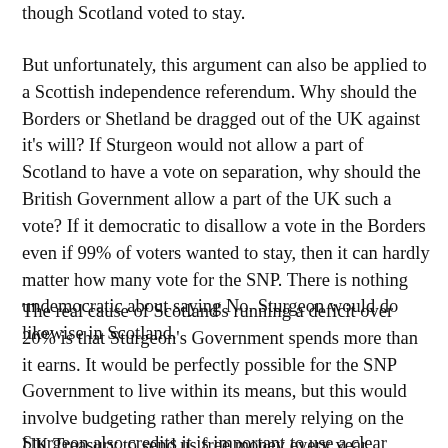though Scotland voted to stay.
But unfortunately, this argument can also be applied to a Scottish independence referendum. Why should the Borders or Shetland be dragged out of the UK against it's will? If Sturgeon would not allow a part of Scotland to have a vote on separation, why should the British Government allow a part of the UK such a vote? If it democratic to disallow a vote in the Borders even if 99% of voters wanted to stay, then it can hardly matter how many vote for the SNP. There is nothing undemocratic about saying No. Sturgeon would do likewise in Scotland.
The real cause of Scotland's running a deficit over 20% is that Sturgeon's Government spends more than it earns. It would be perfectly possible for the SNP Government to live within its means, but this would involve budgeting rather than merely relying on the UK Treasury to send us free money every year.
Sturgeon also credits it is important to use a clear voice. S…